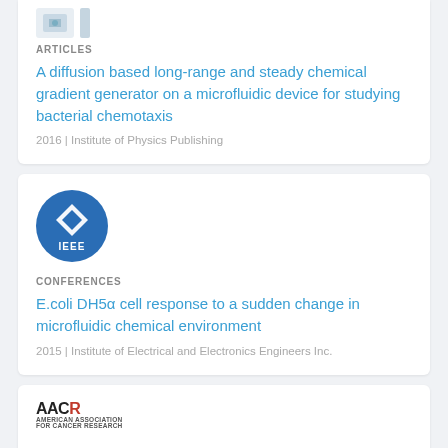[Figure (logo): Partial publisher logo placeholder icon (top card, cropped)]
ARTICLES
A diffusion based long-range and steady chemical gradient generator on a microfluidic device for studying bacterial chemotaxis
2016 | Institute of Physics Publishing
[Figure (logo): IEEE logo - blue circle with diamond and IEEE text]
CONFERENCES
E.coli DH5α cell response to a sudden change in microfluidic chemical environment
2015 | Institute of Electrical and Electronics Engineers Inc.
[Figure (logo): AACR logo - American Association for Cancer Research]